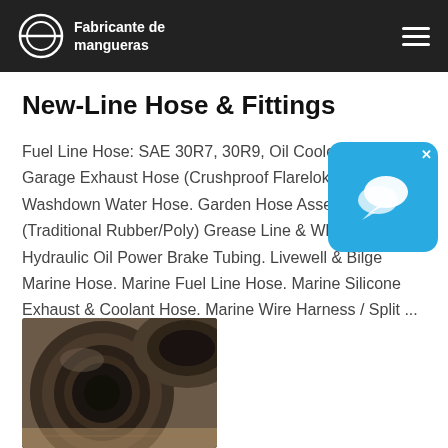Fabricante de mangueras
New-Line Hose & Fittings
Fuel Line Hose: SAE 30R7, 30R9, Oil Cooler Hose. Garage Exhaust Hose (Crushproof Flarelok) Garden & Washdown Water Hose. Garden Hose Asselies (Traditional Rubber/Poly) Grease Line & Whip Asselies. Hydraulic Oil Power Brake Tubing. Livewell & Bilge Marine Hose. Marine Fuel Line Hose. Marine Silicone Exhaust & Coolant Hose. Marine Wire Harness / Split ...
[Figure (photo): Close-up photograph of black rubber industrial hoses, showing the circular cross-section opening of a large hose with coiled hoses behind it on a brick surface.]